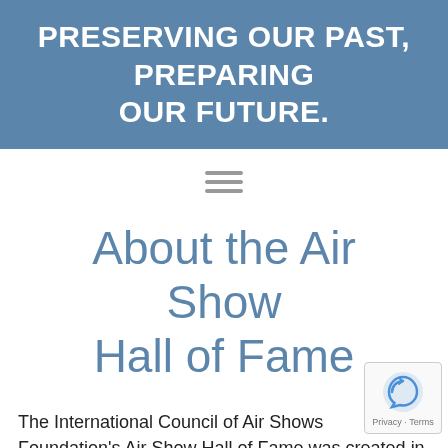PRESERVING OUR PAST, PREPARING OUR FUTURE.
[Figure (other): Hamburger menu icon with three horizontal lines]
About the Air Show Hall of Fame
The International Council of Air Shows Foundation's Air Show Hall of Fame was created in 1995 to honor those who have made a significant contribution to the air show industry as well as those who are...